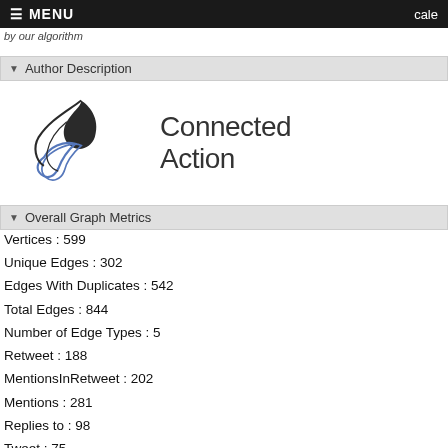≡ MENU  cale
by our algorithm
▾ Author Description
[Figure (logo): Connected Action logo — stylized bird/action mark in dark gray and blue, with text 'Connected Action']
▾ Overall Graph Metrics
Vertices : 599
Unique Edges : 302
Edges With Duplicates : 542
Total Edges : 844
Number of Edge Types : 5
Retweet : 188
MentionsInRetweet : 202
Mentions : 281
Replies to : 98
Tweet : 75
Self-Loops : 87
Reciprocated Vertex Pair Ratio : 0.00594059405940594